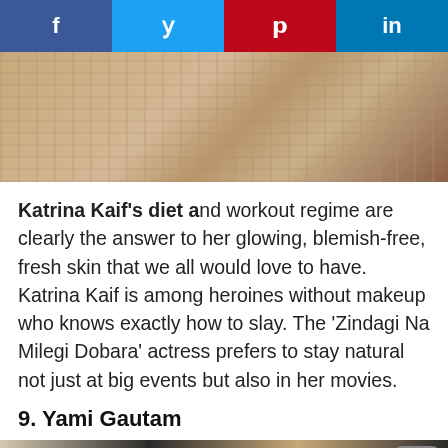[Figure (other): Social sharing bar with Facebook, Twitter, Pinterest, and LinkedIn buttons]
[Figure (photo): Close-up photo of a knitted beige/cream sweater against bare skin]
Katrina Kaif's diet and workout regime are clearly the answer to her glowing, blemish-free, fresh skin that we all would love to have. Katrina Kaif is among heroines without makeup who knows exactly how to slay. The 'Zindagi Na Milegi Dobara' actress prefers to stay natural not just at big events but also in her movies.
9. Yami Gautam
[Figure (photo): Partial bottom image, cut off]